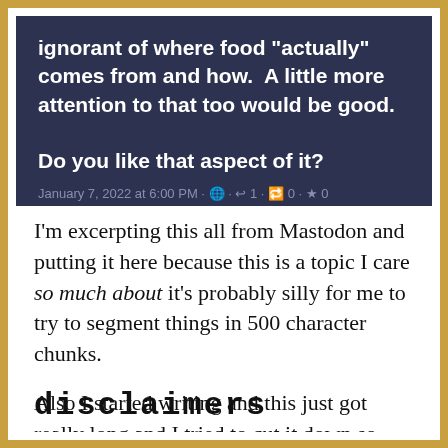[Figure (screenshot): Dark-background social media post (Mastodon) showing text: 'ignorant of where food "actually" comes from and how. A little more attention to that too would be good. Do you like that aspect of it?' with timestamp 'January 7, 2022 at 6:00 PM' and engagement icons showing 1 reply, 0 boosts, 0 favorites.]
I'm excerpting this all from Mastodon and putting it here because this is a topic I care so much about it's probably silly for me to try to segment things in 500 character chunks.
Also I started writing and this just got really long and I tried to cut it down so... 🤷🤷
disclaimers